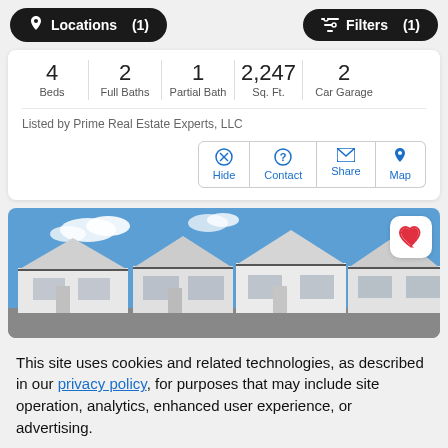Locations (1)   Filters (1)
| Beds | Full Baths | Partial Bath | Sq. Ft. | Car Garage |
| --- | --- | --- | --- | --- |
| 4 | 2 | 1 | 2,247 | 2 |
Listed by Prime Real Estate Experts, LLC
Hide   Contact   Share   Map
[Figure (photo): Exterior photo of white single-story houses with blue sky and clouds in background. A heart/favorite button is visible in the top right corner.]
This site uses cookies and related technologies, as described in our privacy policy, for purposes that may include site operation, analytics, enhanced user experience, or advertising.
Manage Preferences   Accept